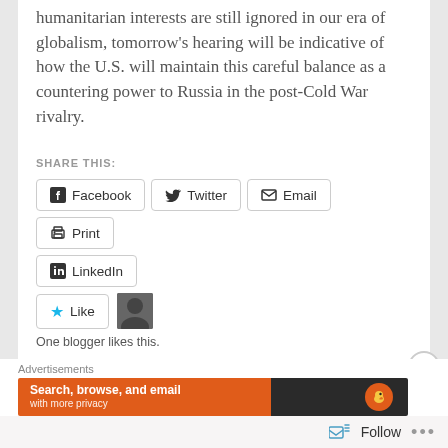humanitarian interests are still ignored in our era of globalism, tomorrow's hearing will be indicative of how the U.S. will maintain this careful balance as a countering power to Russia in the post-Cold War rivalry.
SHARE THIS:
Facebook | Twitter | Email | Print | LinkedIn
Like
One blogger likes this.
RELATED
Advertisements
Search, browse, and email with more privacy